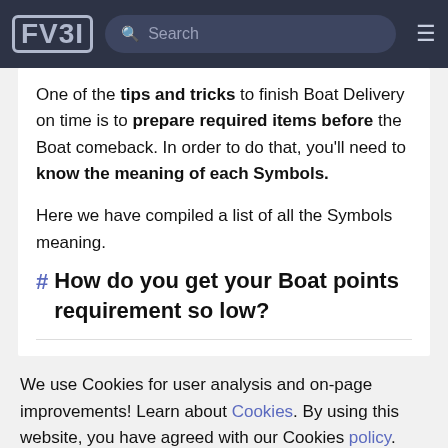FV31 | Search
One of the tips and tricks to finish Boat Delivery on time is to prepare required items before the Boat comeback. In order to do that, you'll need to know the meaning of each Symbols.
Here we have compiled a list of all the Symbols meaning.
# How do you get your Boat points requirement so low?
We use Cookies for user analysis and on-page improvements! Learn about Cookies. By using this website, you have agreed with our Cookies policy.